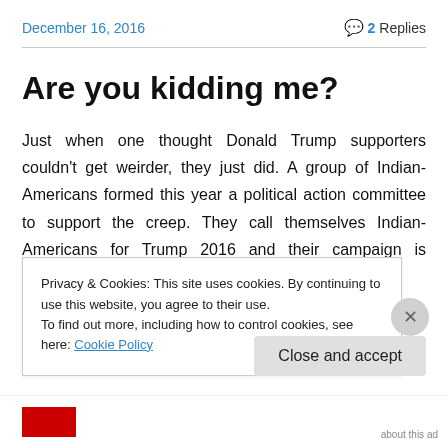December 16, 2016    💬 2 Replies
Are you kidding me?
Just when one thought Donald Trump supporters couldn't get weirder, they just did. A group of Indian-Americans formed this year a political action committee to support the creep. They call themselves Indian-Americans for Trump 2016 and their campaign is founded on the belief that the
Privacy & Cookies: This site uses cookies. By continuing to use this website, you agree to their use.
To find out more, including how to control cookies, see here: Cookie Policy
[Close and accept]